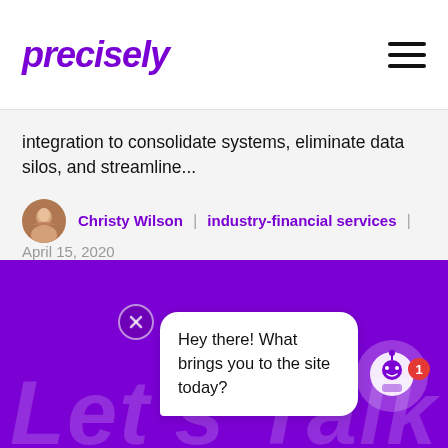precisely
integration to consolidate systems, eliminate data silos, and streamline...
Christy Wilson | industry-financial services | April 15, 2020
[Figure (illustration): Purple background section with large faded 'Let's Talk' text, a chat bubble saying 'Hey there! What brings you to the site today?', a close button, and a robot chatbot icon with a notification badge showing 1.]